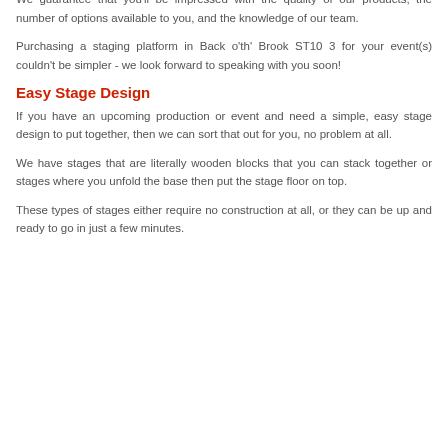you need.
We guarantee that you'll be impressed with the quality of our products, the number of options available to you, and the knowledge of our team.
Purchasing a staging platform in Back o'th' Brook ST10 3 for your event(s) couldn't be simpler - we look forward to speaking with you soon!
Easy Stage Design
If you have an upcoming production or event and need a simple, easy stage design to put together, then we can sort that out for you, no problem at all.
We have stages that are literally wooden blocks that you can stack together or stages where you unfold the base then put the stage floor on top.
These types of stages either require no construction at all, or they can be up and ready to go in just a few minutes.